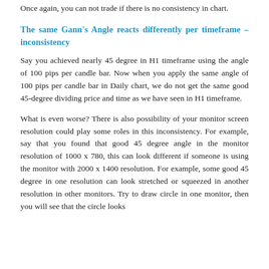Once again, you can not trade if there is no consistency in chart.
The same Gann's Angle reacts differently per timeframe – inconsistency
Say you achieved nearly 45 degree in H1 timeframe using the angle of 100 pips per candle bar. Now when you apply the same angle of 100 pips per candle bar in Daily chart, we do not get the same good 45-degree dividing price and time as we have seen in H1 timeframe.
What is even worse? There is also possibility of your monitor screen resolution could play some roles in this inconsistency. For example, say that you found that good 45 degree angle in the monitor resolution of 1000 x 780, this can look different if someone is using the monitor with 2000 x 1400 resolution. For example, some good 45 degree in one resolution can look stretched or squeezed in another resolution in other monitors. Try to draw circle in one monitor, then you will see that the circle looks